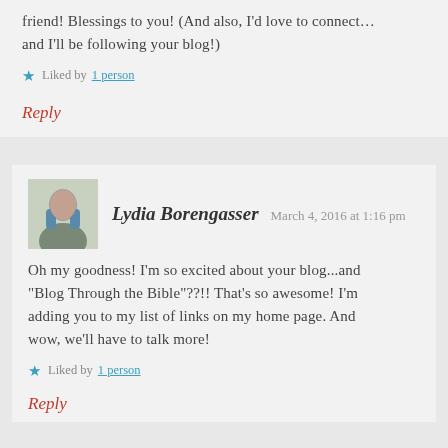friend! Blessings to you! (And also, I'd love to connect… and I'll be following your blog!)
Liked by 1 person
Reply
Lydia Borengasser  March 4, 2016 at 1:16 pm
Oh my goodness! I'm so excited about your blog...and "Blog Through the Bible"??!! That's so awesome! I'm adding you to my list of links on my home page. And wow, we'll have to talk more!
Liked by 1 person
Reply